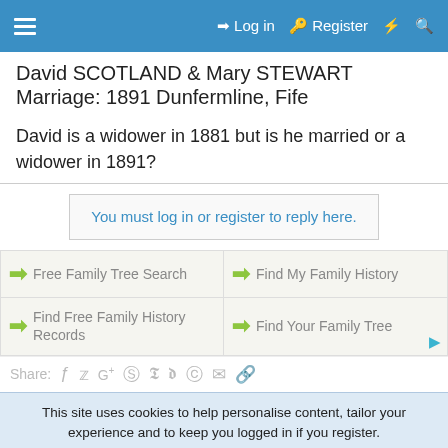≡   ➜ Log in   🔑 Register   ⚡   🔍
David SCOTLAND & Mary STEWART
Marriage: 1891 Dunfermline, Fife
David is a widower in 1881 but is he married or a widower in 1891?
You must log in or register to reply here.
[Figure (other): Four ad links with green arrows: Free Family Tree Search, Find My Family History, Find Free Family History Records, Find Your Family Tree]
Share:  f  twitter  G+  reddit  pinterest  tumblr  whatsapp  email  link
This site uses cookies to help personalise content, tailor your experience and to keep you logged in if you register.
By continuing to use this site, you are consenting to our use of cookies.
✓ Accept    Learn more...